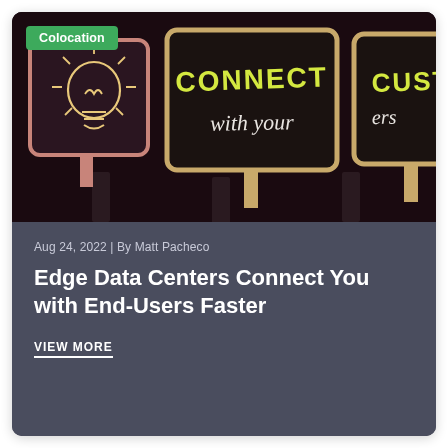[Figure (photo): Photo of three chalkboard-style signs: one with a lightbulb drawing, one reading 'CONNECT with your', and one partially visible reading 'CUSTOM...' with a green 'Colocation' badge overlay in the top-left corner]
Aug 24, 2022 | By Matt Pacheco
Edge Data Centers Connect You with End-Users Faster
VIEW MORE